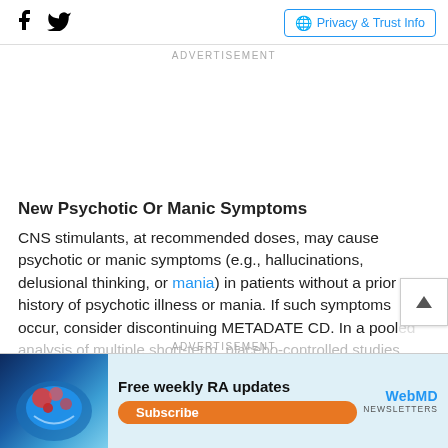Facebook icon | Twitter icon | Privacy & Trust Info
ADVERTISEMENT
New Psychotic Or Manic Symptoms
CNS stimulants, at recommended doses, may cause psychotic or manic symptoms (e.g., hallucinations, delusional thinking, or mania) in patients without a prior history of psychotic illness or mania. If such symptoms occur, consider discontinuing METADATE CD. In a pooled analysis of multiple short-term, placebo-controlled studies
ADVERTISEMENT
[Figure (infographic): Bottom advertisement banner: Free weekly RA updates - Subscribe - WebMD Newsletters, with a colorful medical image on the left]